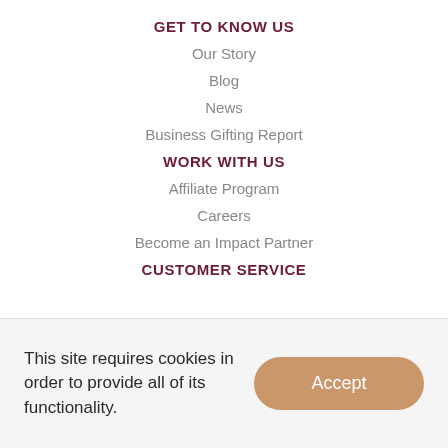GET TO KNOW US
Our Story
Blog
News
Business Gifting Report
WORK WITH US
Affiliate Program
Careers
Become an Impact Partner
CUSTOMER SERVICE
This site requires cookies in order to provide all of its functionality.